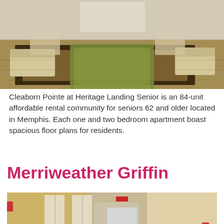[Figure (photo): Interior photo of a senior living community lobby with beige couches, a patterned ottoman, hardwood floors, and an area rug]
Cleaborn Pointe at Heritage Landing Senior is an 84-unit affordable rental community for seniors 62 and older located in Memphis. Each one and two bedroom apartment boast spacious floor plans for residents.
Merriweather Griffin
[Figure (photo): Interior photo of an apartment community common area with hardwood floors, French doors, seating area, and warm yellow walls]